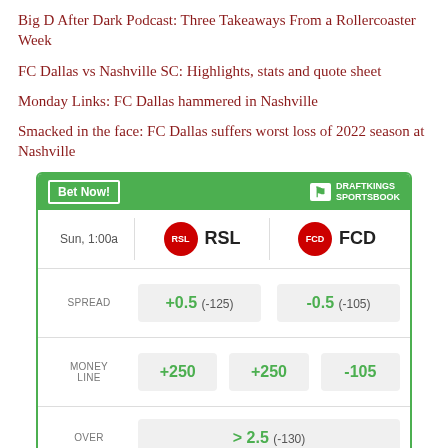Big D After Dark Podcast: Three Takeaways From a Rollercoaster Week
FC Dallas vs Nashville SC: Highlights, stats and quote sheet
Monday Links: FC Dallas hammered in Nashville
Smacked in the face: FC Dallas suffers worst loss of 2022 season at Nashville
[Figure (infographic): DraftKings Sportsbook betting widget showing RSL vs FCD matchup on Sun 1:00a. Spread: RSL +0.5 (-125), FCD -0.5 (-105). Money Line: RSL +250, Draw +250, FCD -105. Over/Under: >2.5 (-130).]